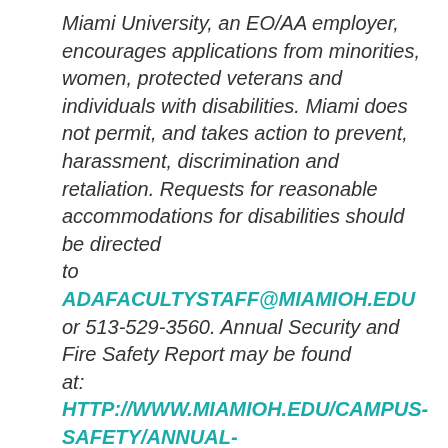Miami University, an EO/AA employer, encourages applications from minorities, women, protected veterans and individuals with disabilities. Miami does not permit, and takes action to prevent, harassment, discrimination and retaliation. Requests for reasonable accommodations for disabilities should be directed to ADAFACULTYSTAFF@MIAMIOH.EDU or 513-529-3560. Annual Security and Fire Safety Report may be found at: HTTP://WWW.MIAMIOH.EDU/CAMPUS-SAFETY/ANNUAL-REPORT/INDEX.HTML.